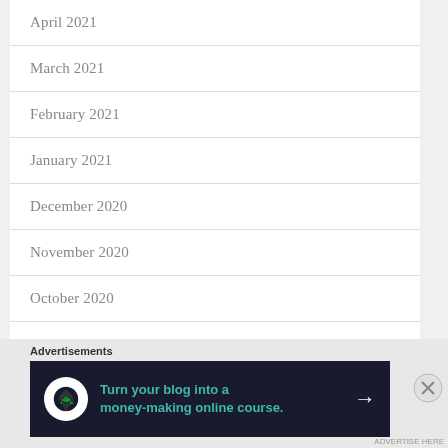April 2021
March 2021
February 2021
January 2021
December 2020
November 2020
October 2020
September 2020
August 2020
Advertisements
[Figure (other): Advertisement banner: dark background with tree icon in circle, teal text 'Turn your blog into a money-making online course.' and white arrow pointing right]